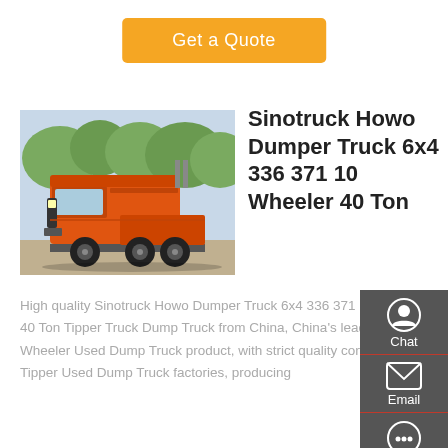Get a Quote
[Figure (photo): Orange Sinotruck Howo dump truck cab chassis, rear three-quarter view, parked outdoors with trees in background]
Sinotruck Howo Dumper Truck 6x4 336 371 10 Wheeler 40 Ton
High quality Sinotruck Howo Dumper Truck 6x4 336 371 10 Wheeler 40 Ton Tipper Truck Dump Truck from China, China's leading 10 Wheeler Used Dump Truck product, with strict quality control 40 Ton Tipper Used Dump Truck factories, producing
Chat
Email
Contact
Top